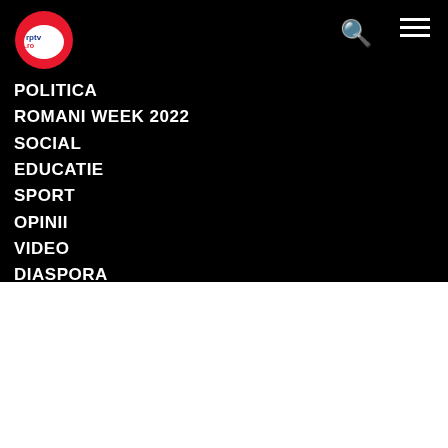[Figure (logo): rptv.ro logo — red circle with white speech bubble and blue/red text]
POLITICA
ROMANI WEEK 2022
SOCIAL
EDUCATIE
SPORT
OPINII
VIDEO
DIASPORA
AUSTRIA
BOSNIA SI HERTEGOVINA
CEHIA
We use cookies on our website to give you the most relevant experience by remembering your preferences and repeat visits. By clicking "Accept All", you consent to the use of ALL the cookies. However, you may visit "Cookie Settings" to provide a controlled consent.
Cookie Settings
Accept All